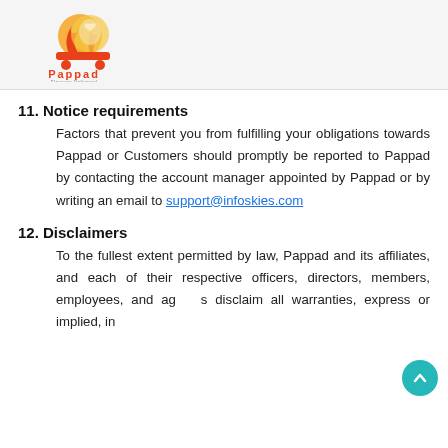[Figure (logo): Pappad food delivery service logo with flame and food motif, red cart, text 'Pappad' below]
11. Notice requirements
Factors that prevent you from fulfilling your obligations towards Pappad or Customers should promptly be reported to Pappad by contacting the account manager appointed by Pappad or by writing an email to support@infoskies.com
12. Disclaimers
To the fullest extent permitted by law, Pappad and its affiliates, and each of their respective officers, directors, members, employees, and agents disclaim all warranties, express or implied, in